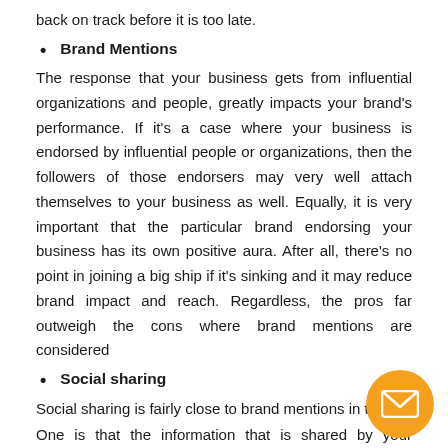back on track before it is too late.
Brand Mentions
The response that your business gets from influential organizations and people, greatly impacts your brand's performance. If it's a case where your business is endorsed by influential people or organizations, then the followers of those endorsers may very well attach themselves to your business as well. Equally, it is very important that the particular brand endorsing your business has its own positive aura. After all, there's no point in joining a big ship if it's sinking and it may reduce brand impact and reach. Regardless, the pros far outweigh the cons where brand mentions are considered
Social sharing
Social sharing is fairly close to brand mentions in two s
One is that the information that is shared by your company